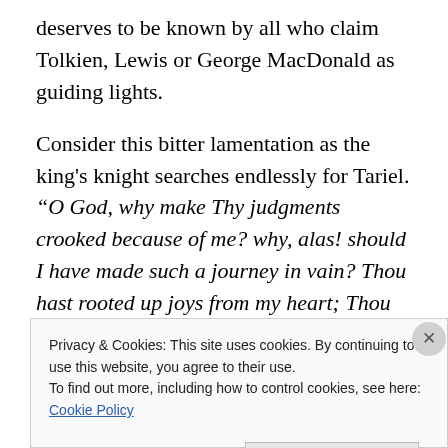deserves to be known by all who claim Tolkien, Lewis or George MacDonald as guiding lights.
Consider this bitter lamentation as the king's knight searches endlessly for Tariel. “O God, why make Thy judgments crooked because of me? why, alas! should I have made such a journey in vain? Thou hast rooted up joys from my heart; Thou hast given griefs a nest there. All my days my tears will never cease.”
Yet then he stops and reflects from the depths of his despair
Privacy & Cookies: This site uses cookies. By continuing to use this website, you agree to their use.
To find out more, including how to control cookies, see here: Cookie Policy